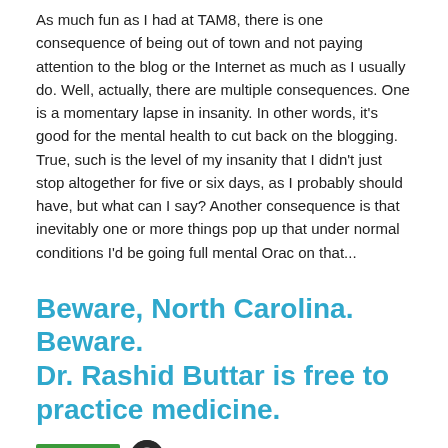As much fun as I had at TAM8, there is one consequence of being out of town and not paying attention to the blog or the Internet as much as I usually do. Well, actually, there are multiple consequences. One is a momentary lapse in insanity. In other words, it's good for the mental health to cut back on the blogging. True, such is the level of my insanity that I didn't just stop altogether for five or six days, as I probably should have, but what can I say? Another consequence is that inevitably one or more things pop up that under normal conditions I'd be going full mental Orac on that...
Beware, North Carolina. Beware. Dr. Rashid Buttar is free to practice medicine.
Medicine | oracknows | April 7, 2010
Beware, North Carolina. Beware. Your law has become quack-friendly to the point where doctors can do almost anything. Why, you may reasonably wonder, am I saying this? The answer is what appears to be the end of a long and painful story of cancer quackery and anti-vaccine celebrity that has tainted...